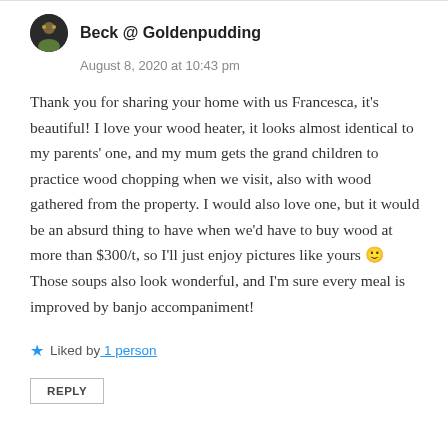Beck @ Goldenpudding
August 8, 2020 at 10:43 pm
Thank you for sharing your home with us Francesca, it's beautiful! I love your wood heater, it looks almost identical to my parents' one, and my mum gets the grand children to practice wood chopping when we visit, also with wood gathered from the property. I would also love one, but it would be an absurd thing to have when we'd have to buy wood at more than $300/t, so I'll just enjoy pictures like yours 🙂 Those soups also look wonderful, and I'm sure every meal is improved by banjo accompaniment!
Liked by 1 person
REPLY